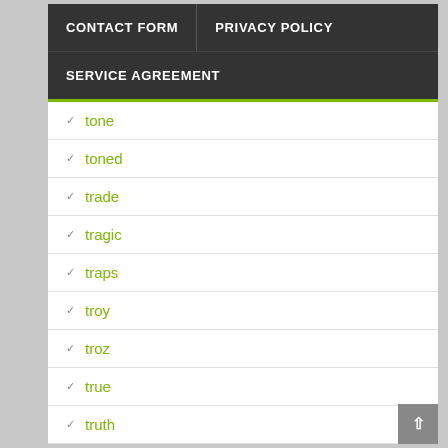CONTACT FORM | PRIVACY POLICY
SERVICE AGREEMENT
tone
toned
trade
tragic
traps
troy
troz
true
truth
tube
tuvalu